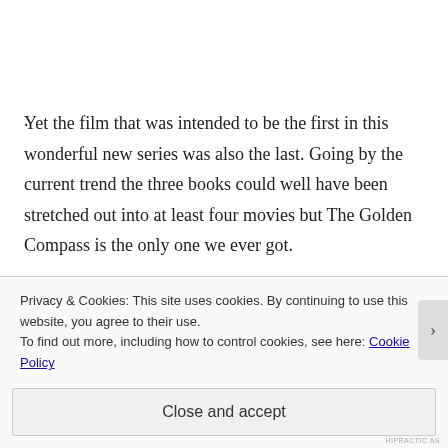.
Yet the film that was intended to be the first in this wonderful new series was also the last. Going by the current trend the three books could well have been stretched out into at least four movies but The Golden Compass is the only one we ever got.
Privacy & Cookies: This site uses cookies. By continuing to use this website, you agree to their use.
To find out more, including how to control cookies, see here: Cookie Policy
Close and accept